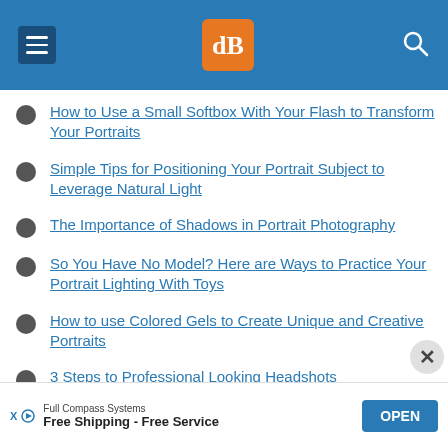dPS (Digital Photography School) navigation header
How to Use a Small Softbox With Your Flash to Transform Your Portraits
Simple Tips for Positioning Your Portrait Subject to Leverage Natural Light
The Importance of Shadows in Portrait Photography
So You Have No Model? Here are Ways to Practice Your Portrait Lighting With Toys
How to use Colored Gels to Create Unique and Creative Portraits
3 Steps to Professional Looking Headshots
Full Compass Systems
Free Shipping - Free Service
OPEN